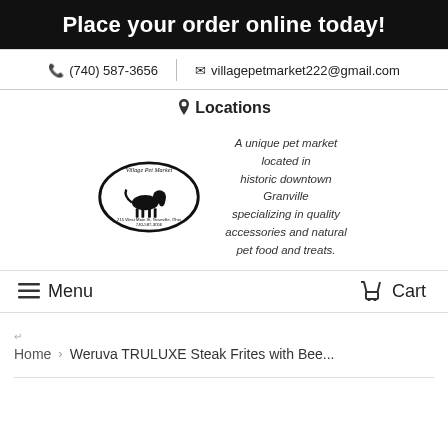Place your order online today!
(740) 587-3656  |  villagepetmarket222@gmail.com
Locations
[Figure (logo): Village Pet Market oval logo with a dog illustration and address 215 West Main St. Granville, Ohio 740-587-3656, alongside text: A unique pet market located in historic downtown Granville specializing in quality accessories and natural pet food and treats.]
Menu
Cart
Home  >  Weruva TRULUXE Steak Frites with Bee...